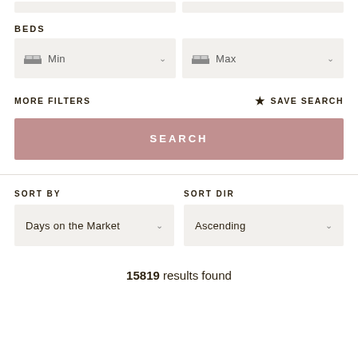BEDS
Min
Max
MORE FILTERS
SAVE SEARCH
SEARCH
SORT BY
SORT DIR
Days on the Market
Ascending
15819 results found